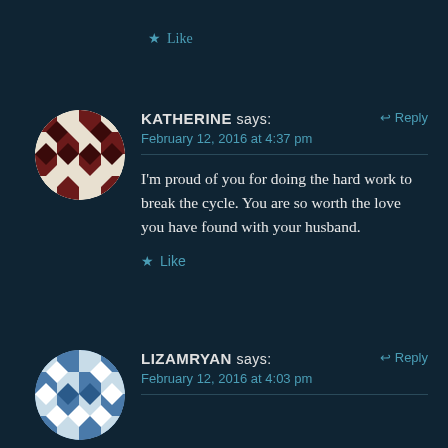★ Like
KATHERINE says:  ↩ Reply
February 12, 2016 at 4:37 pm
I'm proud of you for doing the hard work to break the cycle. You are so worth the love you have found with your husband.
★ Like
LIZAMRYAN says:  ↩ Reply
February 12, 2016 at 4:03 pm